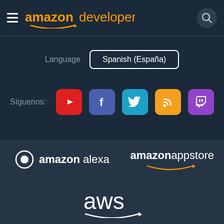amazon developer
Language: Spanish (España)
Síguenos: [YouTube] [Facebook] [Twitter] [Blog] [Twitch]
[Figure (logo): amazon alexa logo with Alexa ring icon]
[Figure (logo): amazon appstore logo with smile arrow]
[Figure (logo): aws logo with smile arrow]